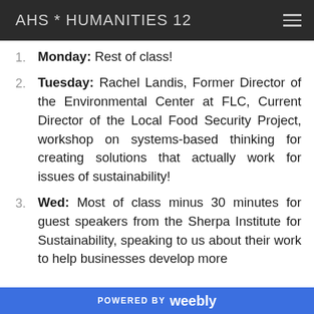AHS * HUMANITIES 12
Monday: Rest of class!
Tuesday: Rachel Landis, Former Director of the Environmental Center at FLC, Current Director of the Local Food Security Project, workshop on systems-based thinking for creating solutions that actually work for issues of sustainability!
Wed: Most of class minus 30 minutes for guest speakers from the Sherpa Institute for Sustainability, speaking to us about their work to help businesses develop more sustainable...
POWERED BY weebly